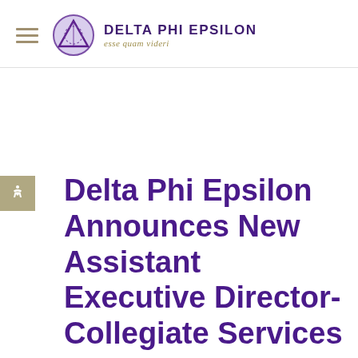DELTA PHI EPSILON esse quam videri
Delta Phi Epsilon Announces New Assistant Executive Director-Collegiate Services